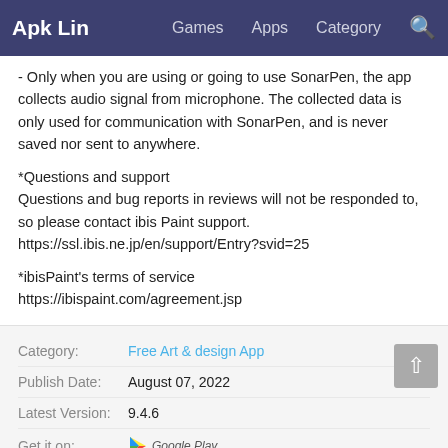Apk Lin  Games  Apps  Category
- Only when you are using or going to use SonarPen, the app collects audio signal from microphone. The collected data is only used for communication with SonarPen, and is never saved nor sent to anywhere.

*Questions and support
Questions and bug reports in reviews will not be responded to, so please contact ibis Paint support.
https://ssl.ibis.ne.jp/en/support/Entry?svid=25

*ibisPaint's terms of service
https://ibispaint.com/agreement.jsp
Category: Free Art & design App
Publish Date: August 07, 2022
Latest Version: 9.4.6
Get it on: Google Play
Requirements: Android 4.4 and up
Content Rating: Everyone